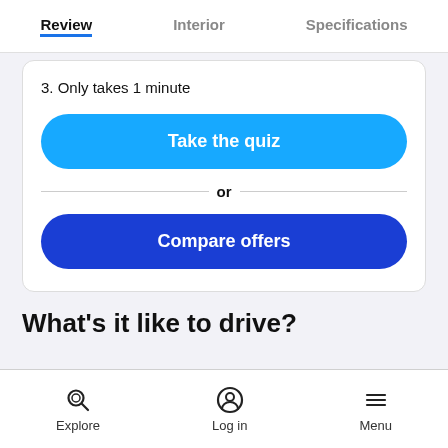Review | Interior | Specifications
3. Only takes 1 minute
Take the quiz
or
Compare offers
What's it like to drive?
Explore | Log in | Menu